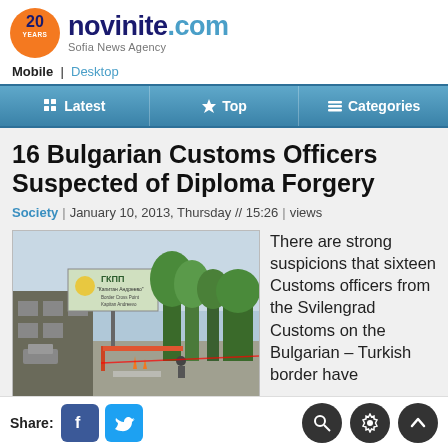novinite.com — Sofia News Agency | Mobile | Desktop
Latest | Top | Categories
16 Bulgarian Customs Officers Suspected of Diploma Forgery
Society | January 10, 2013, Thursday // 15:26 | views
[Figure (photo): A border crossing checkpoint with a sign reading ГКПП (Border Checkpoint), a barrier gate, and trees in the background. The Svilengrad Customs checkpoint on the Bulgarian–Turkish border.]
There are strong suspicions that sixteen Customs officers from the Svilengrad Customs on the Bulgarian – Turkish border have
Share: [Facebook] [Twitter] [Search] [Settings] [Scroll up]